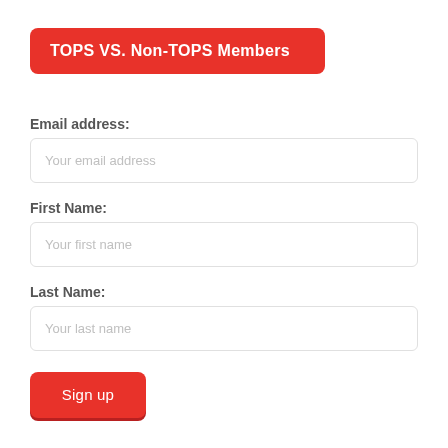TOPS VS. Non-TOPS Members
Email address:
Your email address
First Name:
Your first name
Last Name:
Your last name
Sign up